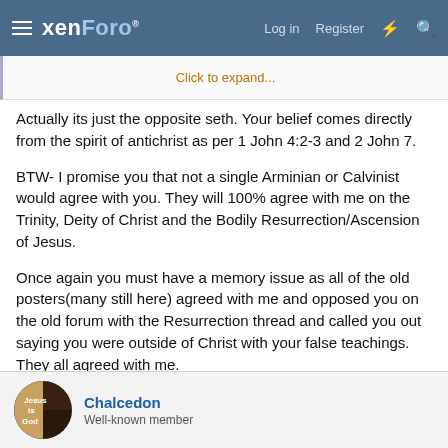xenForo® Log in Register
Click to expand...
Actually its just the opposite seth. Your belief comes directly from the spirit of antichrist as per 1 John 4:2-3 and 2 John 7.
BTW- I promise you that not a single Arminian or Calvinist would agree with you. They will 100% agree with me on the Trinity, Deity of Christ and the Bodily Resurrection/Ascension of Jesus.
Once again you must have a memory issue as all of the old posters(many still here) agreed with me and opposed you on the old forum with the Resurrection thread and called you out saying you were outside of Christ with your false teachings. They all agreed with me.
hope this helps !!!
Chalcedon
Well-known member